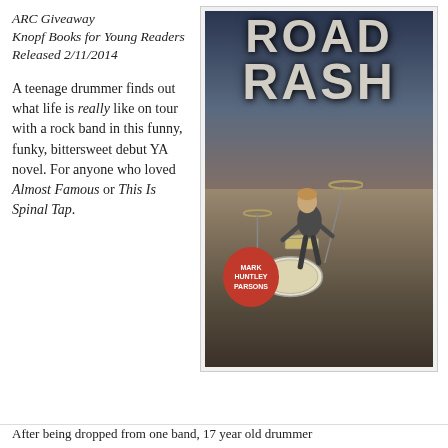ARC Giveaway Knopf Books for Young Readers Released 2/11/2014
[Figure (photo): Book cover of 'Road Rash' by Mark Huntley Parsons showing a teenage boy sitting at a drum kit on an empty road under a dramatic cloudy sky]
A teenage drummer finds out what life is really like on tour with a rock band in this funny, funky, bittersweet debut YA novel. For anyone who loved Almost Famous or This Is Spinal Tap.
After being dropped from one band, 17 year old drummer